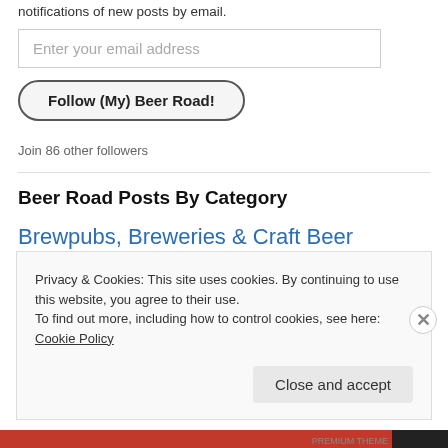notifications of new posts by email.
Enter your email address
Follow (My) Beer Road!
Join 86 other followers
Beer Road Posts By Category
Brewpubs, Breweries & Craft Beer Stores.  Events.
Random Thoughts.  The (Beer) Road Less Traveled.
Privacy & Cookies: This site uses cookies. By continuing to use this website, you agree to their use.
To find out more, including how to control cookies, see here: Cookie Policy
Close and accept